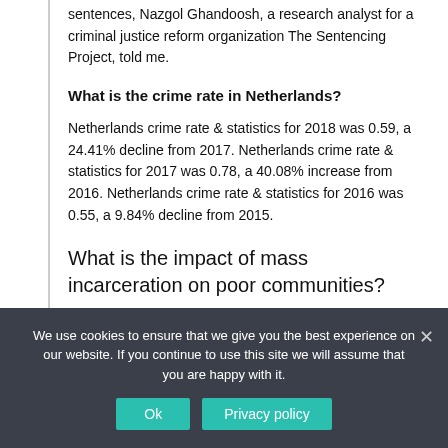sentences, Nazgol Ghandoosh, a research analyst for a criminal justice reform organization The Sentencing Project, told me.
What is the crime rate in Netherlands?
Netherlands crime rate & statistics for 2018 was 0.59, a 24.41% decline from 2017. Netherlands crime rate & statistics for 2017 was 0.78, a 40.08% increase from 2016. Netherlands crime rate & statistics for 2016 was 0.55, a 9.84% decline from 2015.
What is the impact of mass incarceration on poor communities?
Mass incarceration thus deepens disadvantage and
We use cookies to ensure that we give you the best experience on our website. If you continue to use this site we will assume that you are happy with it.